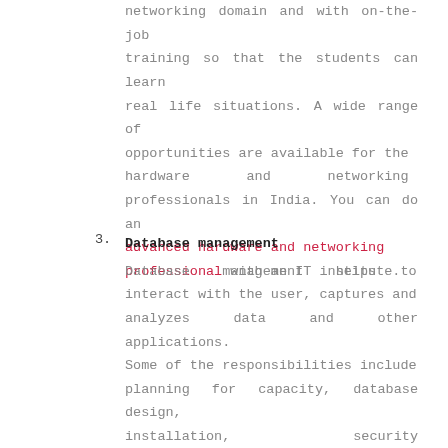networking domain and with on-the-job training so that the students can learn real life situations. A wide range of opportunities are available for the hardware and networking professionals in India. You can do an advanced hardware and networking professional with an IT institute.
3. Database management
Database management helps to interact with the user, captures and analyzes data and other applications. Some of the responsibilities include planning for capacity, database design, installation, security setup, performance optimization, availability...